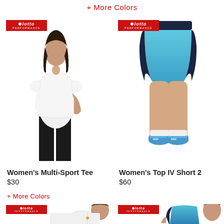+ More Colors
[Figure (photo): Woman wearing a white short-sleeve t-shirt and black pants, Lotto Performance badge top left]
[Figure (photo): Close-up of legs wearing blue ombre sports shorts with black waistband and blue athletic shoes, Lotto Performance badge top left]
Women's Multi-Sport Tee
$30
Women's Top IV Short 2
$60
+ More Colors
[Figure (photo): Woman in white zip-up athletic jacket, Lotto Performance badge top left]
[Figure (photo): Woman wearing blue ombre sports tank top with black back, Lotto Performance badge top left]